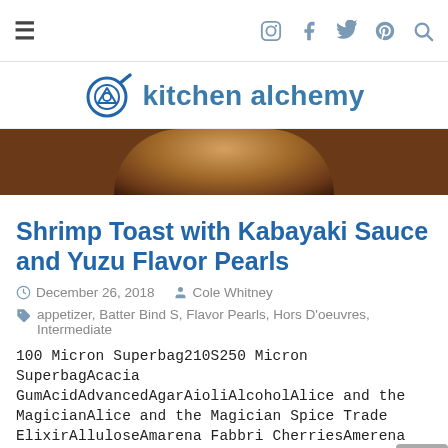≡  [instagram] [facebook] [twitter] [pinterest] [search]
[Figure (logo): Kitchen Alchemy logo with frying pan icon and text 'kitchen alchemy']
[Figure (photo): Partial circular food photo showing baked/cooked item from above]
Shrimp Toast with Kabayaki Sauce and Yuzu Flavor Pearls
December 26, 2018   Cole Whitney
appetizer, Batter Bind S, Flavor Pearls, Hors D'oeuvres, Intermediate
100 Micron Superbag210S250 Micron SuperbagAcacia GumAcidAdvancedAgarAioliAlcoholAlice and the MagicianAlice and the Magician Spice Trade ElixirAlluloseAmarena Fabbri CherriesAmerena CherriesAmidated LM PectinAmylaseAnti-GriddleappetizerappetizersApple